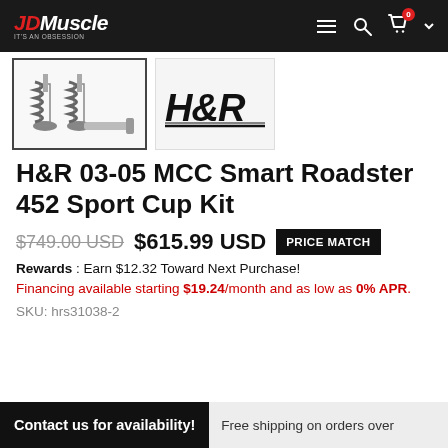JDMuscle — navigation bar with logo, hamburger menu, search, cart (0 items)
[Figure (photo): Product thumbnail showing coilover springs and struts for H&R Sport Cup Kit]
[Figure (logo): H&R logo in bold stylized text]
H&R 03-05 MCC Smart Roadster 452 Sport Cup Kit
$749.00 USD  $615.99 USD  PRICE MATCH
Rewards : Earn $12.32 Toward Next Purchase!
Financing available starting $19.24/month and as low as 0% APR.
SKU: hrs31038-2
Contact us for availability!  Free shipping on orders over